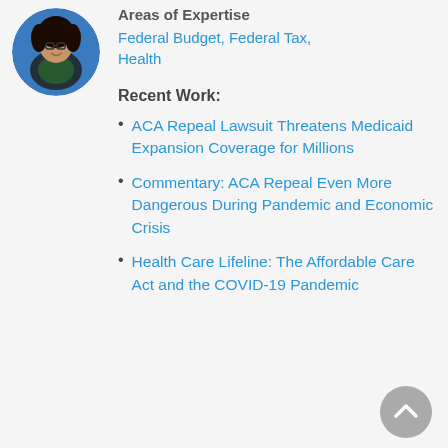[Figure (photo): Circular profile photo of a woman with curly dark hair and glasses, wearing a dark blazer over a green shirt, against a blue background.]
Areas of Expertise
Federal Budget, Federal Tax, Health
Recent Work:
ACA Repeal Lawsuit Threatens Medicaid Expansion Coverage for Millions
Commentary: ACA Repeal Even More Dangerous During Pandemic and Economic Crisis
Health Care Lifeline: The Affordable Care Act and the COVID-19 Pandemic